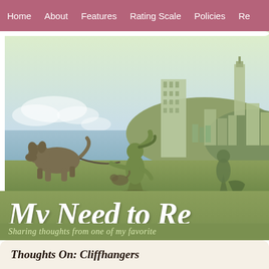Home   About   Features   Rating Scale   Policies   Re...
[Figure (illustration): Website banner illustration showing silhouettes of a person with a dog on a leash and another figure walking, set against a cityscape background with buildings and hills, sky with clouds, and water in the foreground. Muted green, tan, and blue color palette.]
My Need to Re...
Sharing thoughts from one of my favorite...
Thoughts On: Cliffhangers